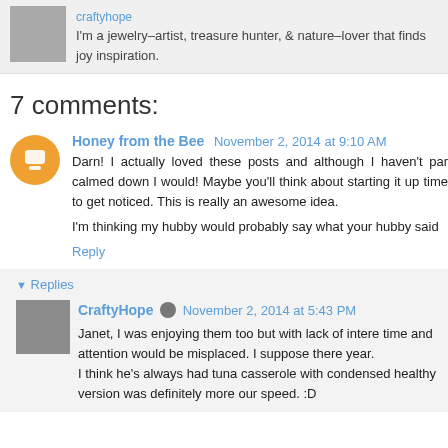I'm a jewelry-artist, treasure hunter, & nature-lover that finds joy inspiration.
7 comments:
Honey from the Bee  November 2, 2014 at 9:10 AM
Darn! I actually loved these posts and although I haven't par calmed down I would! Maybe you'll think about starting it up time to get noticed. This is really an awesome idea.

I'm thinking my hubby would probably say what your hubby said
Reply
Replies
CraftyHope  November 2, 2014 at 5:43 PM
Janet, I was enjoying them too but with lack of intere time and attention would be misplaced. I suppose there year.
I think he's always had tuna casserole with condensed healthy version was definitely more our speed. :D